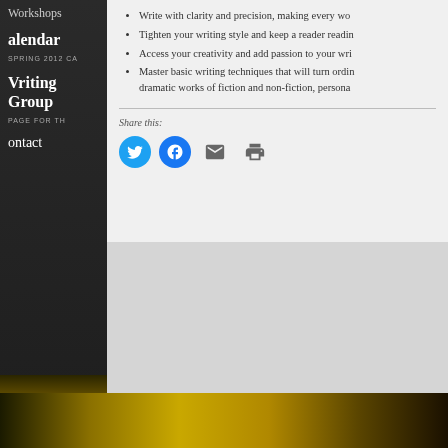Write with clarity and precision, making every wo…
Tighten your writing style and keep a reader readin…
Access your creativity and add passion to your wri…
Master basic writing techniques that will turn ordin… dramatic works of fiction and non-fiction, persona…
Share this:
[Figure (infographic): Social sharing icons: Twitter (blue circle), Facebook (blue circle), Email (envelope icon), Print (printer icon)]